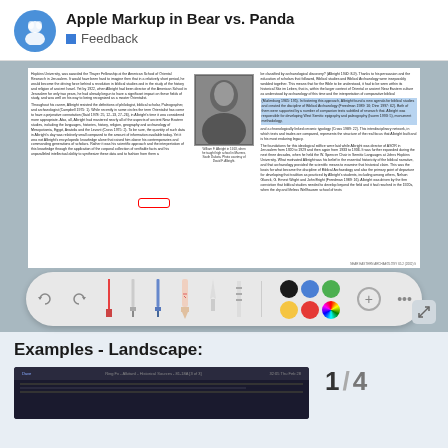Apple Markup in Bear vs. Panda
Feedback
[Figure (screenshot): Screenshot of a scanned academic journal page with two-column text layout and a black-and-white portrait photograph, showing annotation markup tools at the bottom]
[Figure (screenshot): Markup toolbar with drawing tools, color swatches (black, blue, green, yellow, red, rainbow), undo/redo buttons, plus and more options]
Examples - Landscape:
[Figure (screenshot): Landscape mode preview showing a dark themed interface with Ring Fx - Alkitanil - Historical Sources - 81-18A [3 of 3]]
1 / 4